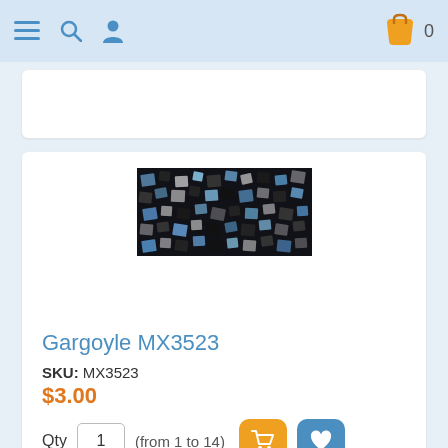Navigation bar with menu, search, user, and cart (0 items)
[Figure (photo): Gargoyle MX3523 bead mix product photo — dark background with multicolored square/tile beads in black, white, and blue tones]
Gargoyle MX3523
SKU: MX3523
$3.00
Qty  1  (from 1 to 14)